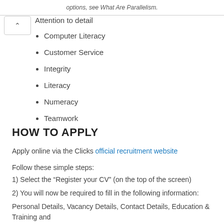options, see What Are Parallelism.
Attention to detail
Computer Literacy
Customer Service
Integrity
Literacy
Numeracy
Teamwork
HOW TO APPLY
Apply online via the Clicks official recruitment website
Follow these simple steps:
1) Select the “Register your CV” (on the top of the screen)
2) You will now be required to fill in the following information:
Personal Details, Vacancy Details, Contact Details, Education & Training and